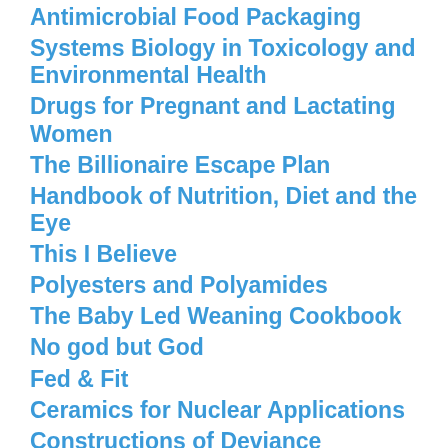Antimicrobial Food Packaging
Systems Biology in Toxicology and Environmental Health
Drugs for Pregnant and Lactating Women
The Billionaire Escape Plan
Handbook of Nutrition, Diet and the Eye
This I Believe
Polyesters and Polyamides
The Baby Led Weaning Cookbook
No god but God
Fed & Fit
Ceramics for Nuclear Applications
Constructions of Deviance
Metaheuristic Applications in Structures and